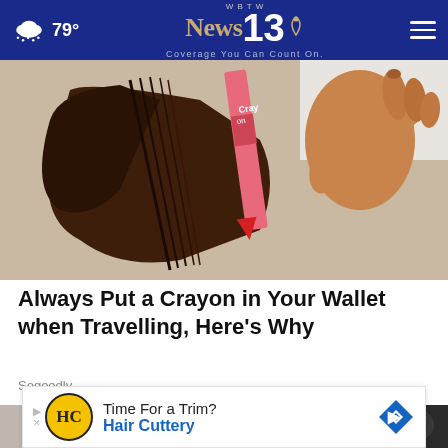79° WBTW News 13 Coverage You Can Count On.
[Figure (photo): A person holding an open brown leather wallet with a red crayon placed inside, visible against a light background.]
Always Put a Crayon in Your Wallet when Travelling, Here's Why
Sogoodly
[Figure (photo): Partial view of a person with a black garment, background photo partially visible behind advertisement overlay.]
[Figure (other): Advertisement banner: Hair Cuttery - Time For a Trim?]